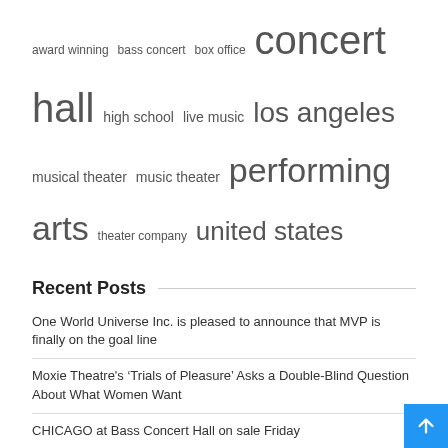award winning  bass concert  box office  concert hall  high school  live music  los angeles  musical theater  music theater  performing arts  theater company  united states
Recent Posts
One World Universe Inc. is pleased to announce that MVP is finally on the goal line
Moxie Theatre's ‘Trials of Pleasure’ Asks a Double-Blind Question About What Women Want
CHICAGO at Bass Concert Hall on sale Friday
Ticket brokers used to be the enemy, but now it seems Bruce Springsteen is the problem
Rammstein, Lindsey Buckingham, Quivers, TMBG, José González, more